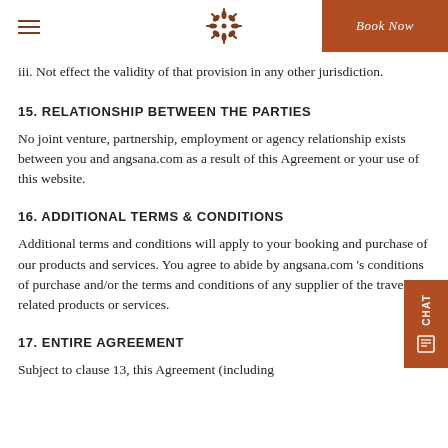Book Now
iii. Not effect the validity of that provision in any other jurisdiction.
15. RELATIONSHIP BETWEEN THE PARTIES
No joint venture, partnership, employment or agency relationship exists between you and angsana.com as a result of this Agreement or your use of this website.
16. ADDITIONAL TERMS & CONDITIONS
Additional terms and conditions will apply to your booking and purchase of our products and services. You agree to abide by angsana.com 's conditions of purchase and/or the terms and conditions of any supplier of the travel-related products or services.
17. ENTIRE AGREEMENT
Subject to clause 13, this Agreement (including